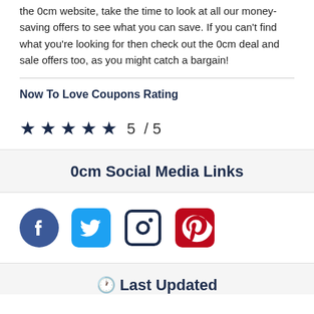the 0cm website, take the time to look at all our money-saving offers to see what you can save. If you can't find what you're looking for then check out the 0cm deal and sale offers too, as you might catch a bargain!
Now To Love Coupons Rating
★★★★★  5 / 5
0cm Social Media Links
[Figure (infographic): Social media icons: Facebook (blue circle), Twitter (light blue rounded square), Instagram (dark blue rounded square outline), Pinterest (red rounded square)]
🕐 Last Updated